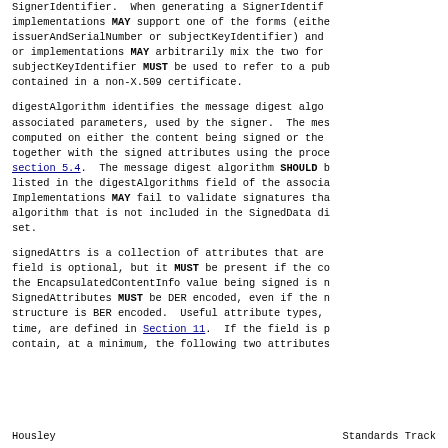SignerIdentifier.  When generating a SignerIdentifier, implementations MAY support one of the forms (either issuerAndSerialNumber or subjectKeyIdentifier) and or implementations MAY arbitrarily mix the two forms. subjectKeyIdentifier MUST be used to refer to a public key contained in a non-X.509 certificate.
digestAlgorithm identifies the message digest algorithm, and associated parameters, used by the signer.  The message digest is computed on either the content being signed or the content together with the signed attributes using the process described in section 5.4.  The message digest algorithm SHOULD be listed in the digestAlgorithms field of the associated SignedData. Implementations MAY fail to validate signatures that use an algorithm that is not included in the SignedData digestAlgorithms set.
signedAttrs is a collection of attributes that are signed.  The field is optional, but it MUST be present if the content type of the EncapsulatedContentInfo value being signed is not id-data. SignedAttributes MUST be DER encoded, even if the rest of the structure is BER encoded.  Useful attribute types, such as signing time, are defined in Section 11.  If the field is present, it MUST contain, at a minimum, the following two attributes:
Housley                     Standards Track